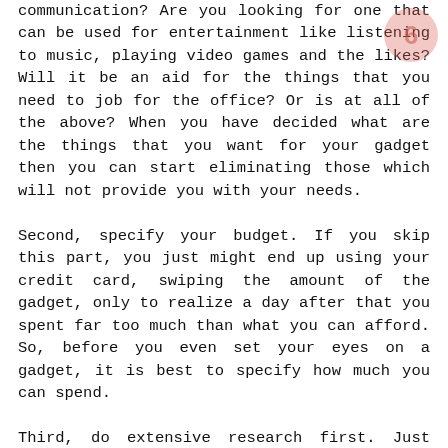communication? Are you looking for one that can be used for entertainment like listening to music, playing video games and the likes? Will it be an aid for the things that you need to job for the office? Or is at all of the above? When you have decided what are the things that you want for your gadget then you can start eliminating those which will not provide you with your needs.
Second, specify your budget. If you skip this part, you just might end up using your credit card, swiping the amount of the gadget, only to realize a day after that you spent far too much than what you can afford. So, before you even set your eyes on a gadget, it is best to specify how much you can spend.
Third, do extensive research first. Just think that the internet is always there to provide you answers so might as well use it to your advantage. Look into the specifications to ensure that it will be able to work with your needs. Also, you definitely have to check out the consumer and feedback from other users.